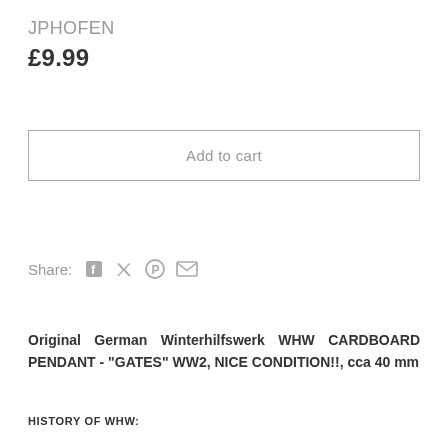JPHOFEN
£9.99
Add to cart
Share:
Original German Winterhilfswerk WHW CARDBOARD PENDANT - "GATES" WW2, NICE CONDITION!!, cca 40 mm
HISTORY OF WHW: